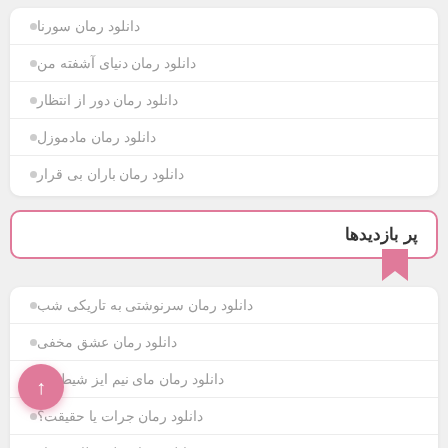دانلود رمان سورنا
دانلود رمان دنیای آشفته من
دانلود رمان دور از انتظار
دانلود رمان مادموزل
دانلود رمان باران بی قرار
پر بازدیدها
دانلود رمان سرنوشتی به تاریکی شب
دانلود رمان عشق مخفی
دانلود رمان ماى نیم ایز شیطونک
دانلود رمان جرات یا حقیقت؟
دانلود رمان قلبم طاقت بیار